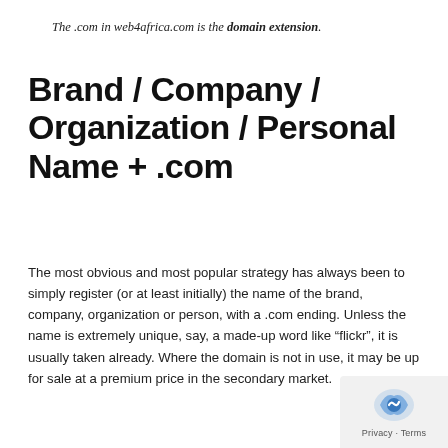The .com in web4africa.com is the domain extension.
Brand / Company / Organization / Personal Name + .com
The most obvious and most popular strategy has always been to simply register (or at least initially) the name of the brand, company, organization or person, with a .com ending. Unless the name is extremely unique, say, a made-up word like “flickr”, it is usually taken already. Where the domain is not in use, it may be up for sale at a premium price in the secondary market.